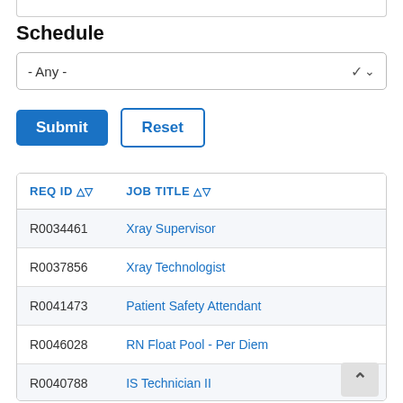Schedule
- Any -
Submit  Reset
| REQ ID | JOB TITLE |
| --- | --- |
| R0034461 | Xray Supervisor |
| R0037856 | Xray Technologist |
| R0041473 | Patient Safety Attendant |
| R0046028 | RN Float Pool - Per Diem |
| R0040788 | IS Technician II |
| R0035665 | Clinical Coordinator II- Waterbury Family |